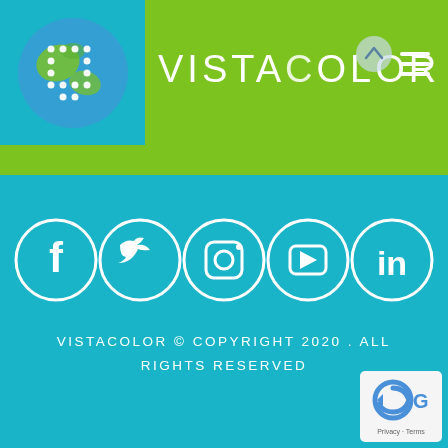[Figure (logo): VistaColor logo with globe icon showing white U shape made of dots on a blue/green globe, next to VISTACOLOR brand text in white, and hamburger menu icon on the right, all on a green header bar]
[Figure (infographic): Five social media icons in white circles on teal background: Facebook (f), Twitter (bird), Instagram (camera), YouTube (play button), LinkedIn (in)]
VISTACOLOR © COPYRIGHT 2020 . ALL RIGHTS RESERVED